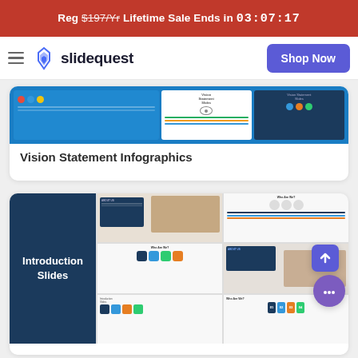Reg $197/Yr Lifetime Sale Ends in 03:07:17
slidequest — Shop Now
[Figure (screenshot): Vision Statement Infographics product card showing slide thumbnails with blue background]
Vision Statement Infographics
[Figure (screenshot): Introduction Slides product card showing dark navy left panel with slide grid thumbnails]